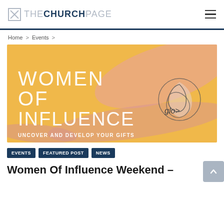THE CHURCH PAGE
Home > Events >
[Figure (illustration): Banner image for 'Women Of Influence' event on a golden/yellow background with abstract pink brushstroke shapes and a circular logo graphic on the right. Text reads: WOMEN OF INFLUENCE / UNCOVER AND DEVELOP YOUR GIFTS. A 'glo>' logo appears on the right side.]
EVENTS
FEATURED POST
NEWS
Women Of Influence Weekend –